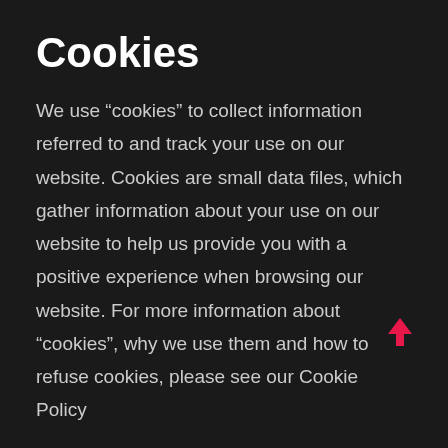Cookies
We use “cookies” to collect information referred to and track your use on our website. Cookies are small data files, which gather information about your use on our website to help us provide you with a positive experience when browsing our website. For more information about “cookies”, why we use them and how to refuse cookies, please see our Cookie Policy
Marketing
We may contact you with information about our products, services and any important announcements provided of course that you have